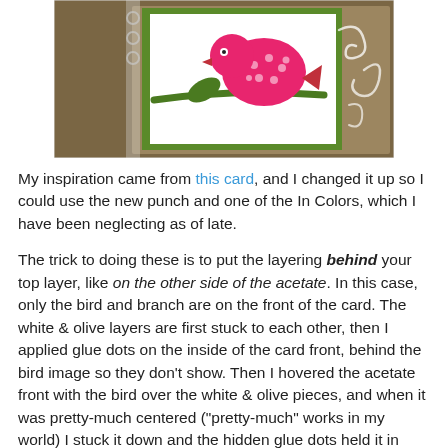[Figure (photo): A craft card with a pink bird with polka dots sitting on a green branch, on a white card with green border, set against a brown background with white swirl decorations. A ribbon or acetate strip is visible on the left side.]
My inspiration came from this card, and I changed it up so I could use the new punch and one of the In Colors, which I have been neglecting as of late.
The trick to doing these is to put the layering behind your top layer, like on the other side of the acetate. In this case, only the bird and branch are on the front of the card. The white & olive layers are first stuck to each other, then I applied glue dots on the inside of the card front, behind the bird image so they don't show. Then I hovered the acetate front with the bird over the white & olive pieces, and when it was pretty-much centered ("pretty-much" works in my world) I stuck it down and the hidden glue dots held it in place.